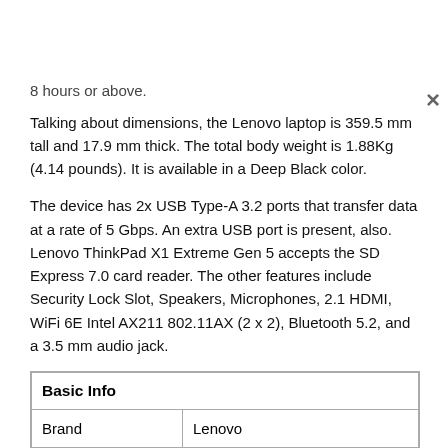8 hours or above.
Talking about dimensions, the Lenovo laptop is 359.5 mm tall and 17.9 mm thick. The total body weight is 1.88Kg (4.14 pounds). It is available in a Deep Black color.
The device has 2x USB Type-A 3.2 ports that transfer data at a rate of 5 Gbps. An extra USB port is present, also. Lenovo ThinkPad X1 Extreme Gen 5 accepts the SD Express 7.0 card reader. The other features include Security Lock Slot, Speakers, Microphones, 2.1 HDMI, WiFi 6E Intel AX211 802.11AX (2 x 2), Bluetooth 5.2, and a 3.5 mm audio jack.
| Basic Info |  |
| --- | --- |
| Brand | Lenovo |
| Model | ThinkPad X1 Extreme Gen 5 (2022)
Part Number 21DE001BUS |
| Status | Available |